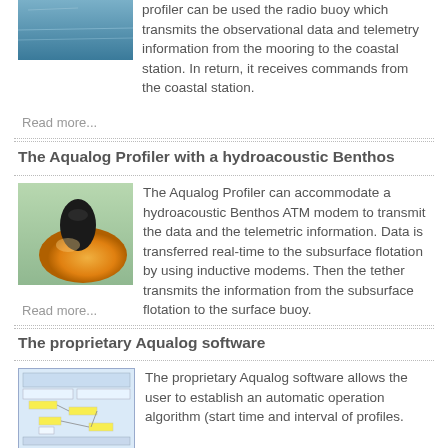[Figure (photo): Ocean/water surface photo showing mooring setup]
profiler can be used the radio buoy which transmits the observational data and telemetry information from the mooring to the coastal station. In return, it receives commands from the coastal station.
Read more...
The Aqualog Profiler with a hydroacoustic Benthos
[Figure (photo): Orange hydroacoustic Benthos buoy/modem device]
The Aqualog Profiler can accommodate a hydroacoustic Benthos ATM modem to transmit the data and the telemetric information. Data is transferred real-time to the subsurface flotation by using inductive modems. Then the tether transmits the information from the subsurface flotation to the surface buoy.
Read more...
The proprietary Aqualog software
[Figure (screenshot): Screenshot of Aqualog proprietary software interface showing automatic operation algorithm]
The proprietary Aqualog software allows the user to establish an automatic operation algorithm (start time and interval of profiles.